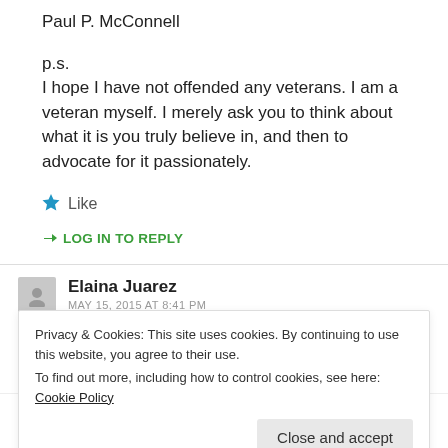Paul P. McConnell
p.s.
I hope I have not offended any veterans. I am a veteran myself. I merely ask you to think about what it is you truly believe in, and then to advocate for it passionately.
★ Like
↳ LOG IN TO REPLY
Elaina Juarez
MAY 15, 2015 AT 8:41 PM
Privacy & Cookies: This site uses cookies. By continuing to use this website, you agree to their use.
To find out more, including how to control cookies, see here: Cookie Policy
Close and accept
reading the material we were assigned, I now know that